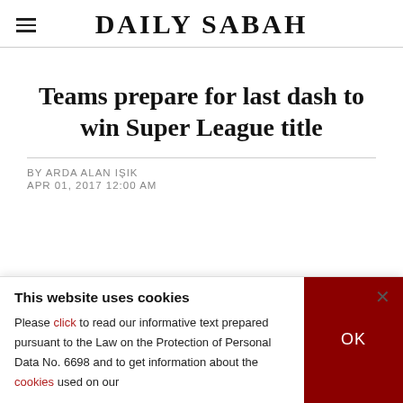DAILY SABAH
Teams prepare for last dash to win Super League title
BY ARDA ALAN IŞIK
APR 01, 2017 12:00 AM
This website uses cookies
Please click to read our informative text prepared pursuant to the Law on the Protection of Personal Data No. 6698 and to get information about the cookies used on our